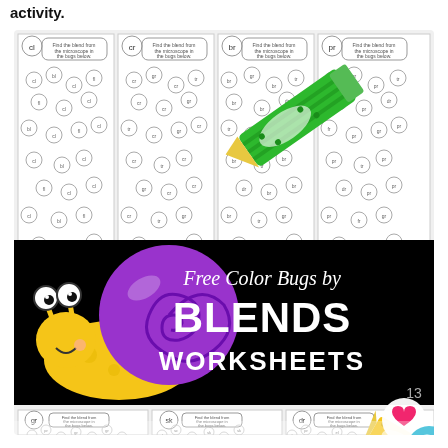activity.
[Figure (illustration): Educational worksheet preview image showing 'Free Color Bugs by Blends Worksheets'. Features a cartoon snail with a yellow body and purple shell on a black banner. Multiple worksheet pages visible showing bug-themed consonant blend activities with 'cl', 'cr', 'br', 'pr', 'gr', 'sk', 'dr' blend labels. Worksheets show bugs/flowers with blend labels in circles for students to find and color. A green crayon is shown on top worksheets and a yellow crayon on lower-right worksheets. The number 13 appears in the lower right of the black banner. Social media icons (heart and magnifying glass) appear in the bottom right corner.]